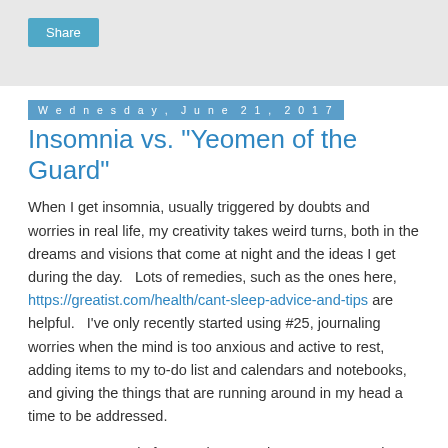Share
Wednesday, June 21, 2017
Insomnia vs. "Yeomen of the Guard"
When I get insomnia, usually triggered by doubts and worries in real life, my creativity takes weird turns, both in the dreams and visions that come at night and the ideas I get during the day.   Lots of remedies, such as the ones here, https://greatist.com/health/cant-sleep-advice-and-tips are helpful.   I've only recently started using #25, journaling worries when the mind is too anxious and active to rest, adding items to my to-do list and calendars and notebooks, and giving the things that are running around in my head a time to be addressed.
Here's an example from early June when I was uncertain about how much more work I'd have to do to memorize and play Fairfax, my part in Marylhurst University's production of Gilbert and Sullivan's "Yeoman of the Guard".   The